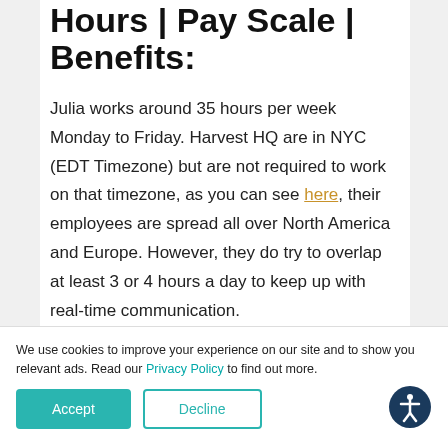Hours | Pay Scale | Benefits:
Julia works around 35 hours per week Monday to Friday. Harvest HQ are in NYC (EDT Timezone) but are not required to work on that timezone, as you can see here, their employees are spread all over North America and Europe. However, they do try to overlap at least 3 or 4 hours a day to keep up with real-time communication.
We use cookies to improve your experience on our site and to show you relevant ads. Read our Privacy Policy to find out more.